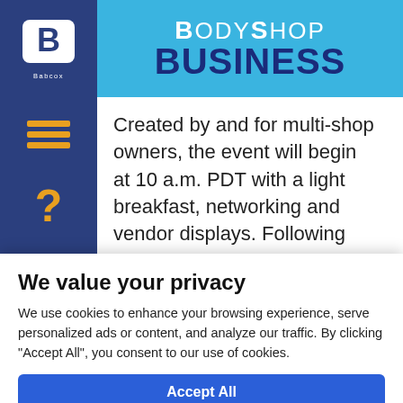BodyShop Business
Created by and for multi-shop owners, the event will begin at 10 a.m. PDT with a light breakfast, networking and vendor displays. Following will be a unique program providing information and insight on the economy, the industry's current state of affairs, matters concerning ESG, DEI and
We value your privacy
We use cookies to enhance your browsing experience, serve personalized ads or content, and analyze our traffic. By clicking "Accept All", you consent to our use of cookies.
Accept All
Customize
Reject All